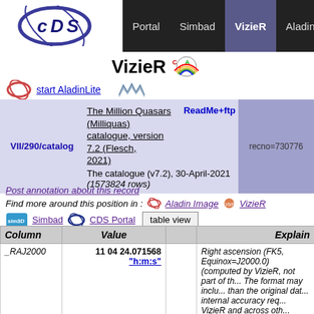Portal | Simbad | VizieR | Aladin | X-Match | Other
VizieR CFA
start AladinLite
The Million Quasars (Milliquas) catalogue, version 7.2 (Flesch, 2021) ReadMe+ftp — recno=730776 — The catalogue (v7.2), 30-April-2021 (1573824 rows)
Post annotation about this record
Find more around this position in : Aladin Image VizieR
Simbad CDS Portal table view
| Column | Value |  | Explain |
| --- | --- | --- | --- |
| _RAJ2000 | 11 04 24.071568 "h:m:s" |  | Right ascension (FK5, Equinox=J2000.0) (computed by VizieR, not part of the original data. The format may include more digits than the original data because of internal accuracy requirements in VizieR and across other CDS services) (pos.eq.ra) |
| DEJ2000 | +07 30 53.18676 "d:m:s" |  | Declination (FK5, |